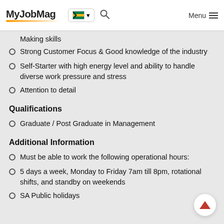MyJobMag
Making skills
Strong Customer Focus & Good knowledge of the industry
Self-Starter with high energy level and ability to handle diverse work pressure and stress
Attention to detail
Qualifications
Graduate / Post Graduate in Management
Additional Information
Must be able to work the following operational hours:
5 days a week, Monday to Friday 7am till 8pm, rotational shifts, and standby on weekends
SA Public holidays